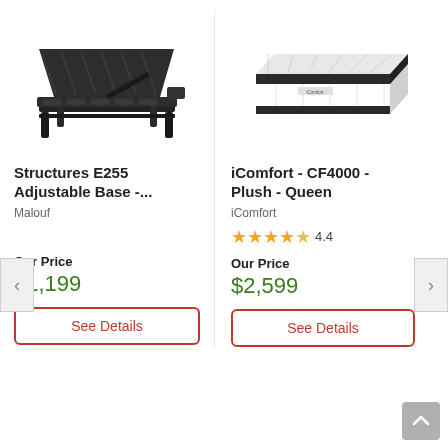[Figure (photo): Adjustable bed base (Structures E255) - black metal frame with head raised at angle, viewed from above-front perspective]
[Figure (photo): iComfort CF4000 Plush Queen mattress - rectangular mattress with white quilted top and dark charcoal sides, viewed from corner angle]
Structures E255 Adjustable Base -...
iComfort - CF4000 - Plush - Queen
Malouf
iComfort
4.4
Our Price
$1,199
Our Price
$2,599
See Details
See Details